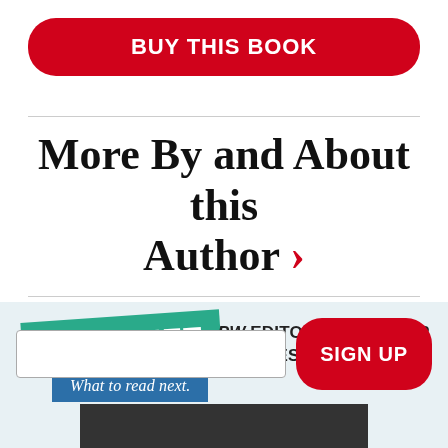BUY THIS BOOK
More By and About this Author >
[Figure (infographic): Tip Sheet promotional banner with teal 'TIP SHEET' badge, blue 'What to read next.' badge, and text 'PW EDITORS' PICKS FOR THE BEST NEW BOOKS' with email signup and red SIGN UP button]